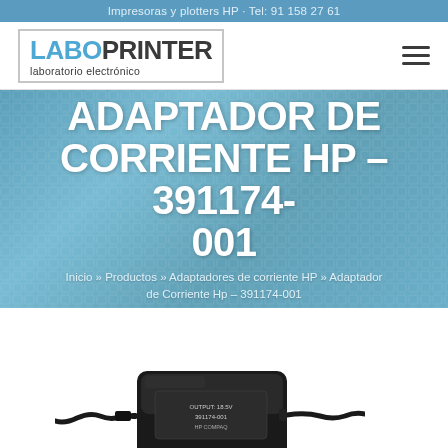Impresoras y plotters HP · Tel: 91 158 27 61
[Figure (logo): LaboPrinter logo — 'LABO' in blue bold, 'PRINTER' in dark bold, subtitle 'laboratorio electrónico']
ADAPTADOR DE CORRIENTE HP – 391174-001
Inicio » Productos » Adaptadores de corriente HP » Adaptador de Corriente Hp – 391174-001
[Figure (photo): HP AC power adapter/charger brick with cable, black, on white background]